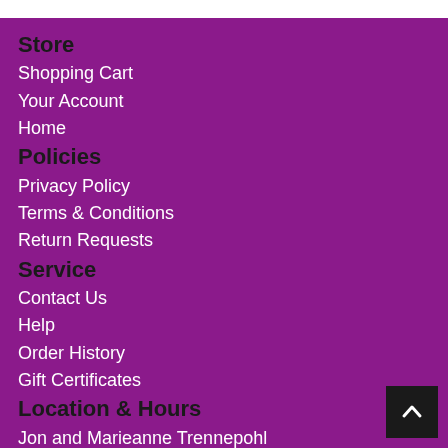Store
Shopping Cart
Your Account
Home
Policies
Privacy Policy
Terms & Conditions
Return Requests
Service
Contact Us
Help
Order History
Gift Certificates
Location & Hours
Jon and Marieanne Trennepohl
Kites and Fun Things
40522 E. Ann Arbor Trail
Plymouth, MI 48170